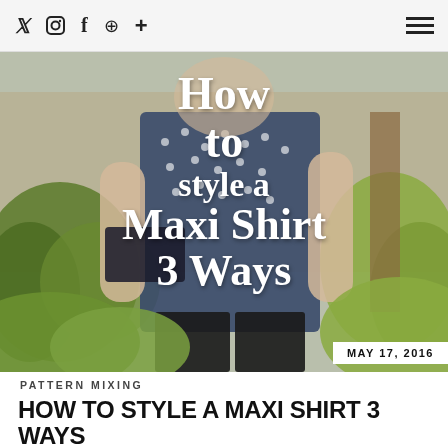Social icons: Twitter, Instagram, Facebook, Pinterest, Plus | Hamburger menu
[Figure (photo): A person wearing a navy blue polka dot maxi shirt standing outdoors in a garden with green plants and a wooden fence. Text overlay reads: How to style a Maxi Shirt 3 Ways. Date: MAY 17, 2016]
PATTERN MIXING
HOW TO STYLE A MAXI SHIRT 3 WAYS